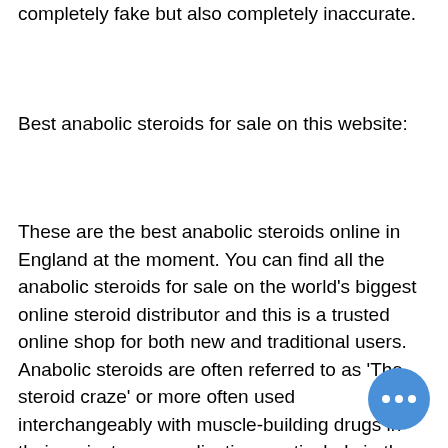completely fake but also completely inaccurate.
Best anabolic steroids for sale on this website:
These are the best anabolic steroids online in England at the moment. You can find all the anabolic steroids for sale on the world's biggest online steroid distributor and this is a trusted online shop for both new and traditional users. Anabolic steroids are often referred to as 'The steroid craze' or more often used interchangeably with muscle-building drugs in their mainstream application, particularly in the gym. The term 'anabolic' usually conveys an image of an extremely muscular or lean man with a small, erect and bulging chest and arms. The name is derived from the Greek words meaning growth and ari-, meaning pow...